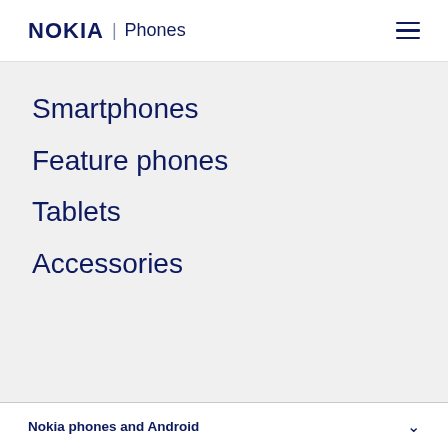NOKIA | Phones
Smartphones
Feature phones
Tablets
Accessories
Nokia phones and Android